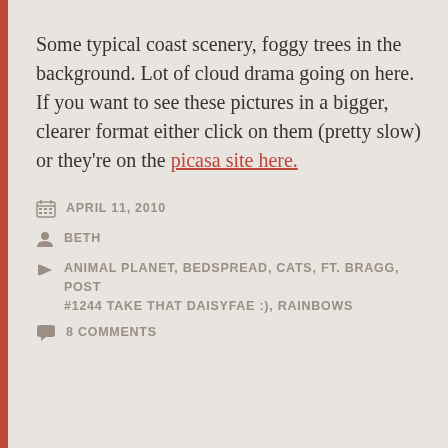Some typical coast scenery, foggy trees in the background.  Lot of cloud drama going on here.  If you want to see these pictures in a bigger, clearer format either click on them (pretty slow) or they're on the picasa site here.
APRIL 11, 2010
BETH
ANIMAL PLANET, BEDSPREAD, CATS, FT. BRAGG, POST #1244 TAKE THAT DAISYFAE :), RAINBOWS
8 COMMENTS